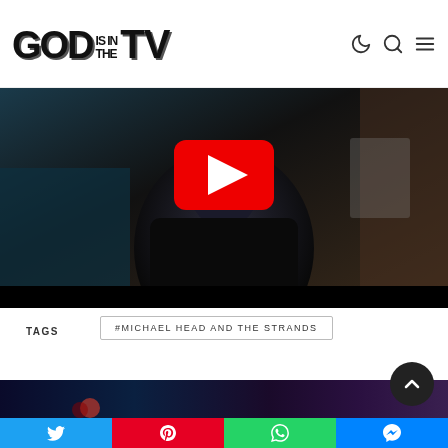GOD IS IN THE TV
[Figure (screenshot): Video thumbnail showing a person in dark clothing with a red YouTube play button icon overlaid in the center]
TAGS
#MICHAEL HEAD AND THE STRANDS
[Figure (photo): Partial image at bottom of page with dark blue and purple tones]
Social share buttons: Twitter, Pinterest, WhatsApp, Messenger